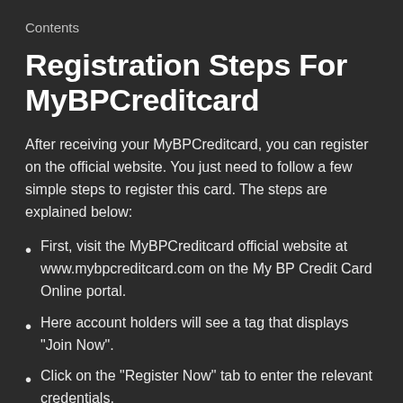Contents
Registration Steps For MyBPCreditcard
After receiving your MyBPCreditcard, you can register on the official website. You just need to follow a few simple steps to register this card. The steps are explained below:
First, visit the MyBPCreditcard official website at www.mybpcreditcard.com on the My BP Credit Card Online portal.
Here account holders will see a tag that displays “Join Now”.
Click on the “Register Now” tab to enter the relevant credentials.
Next, enter the credit card number and relevant zip